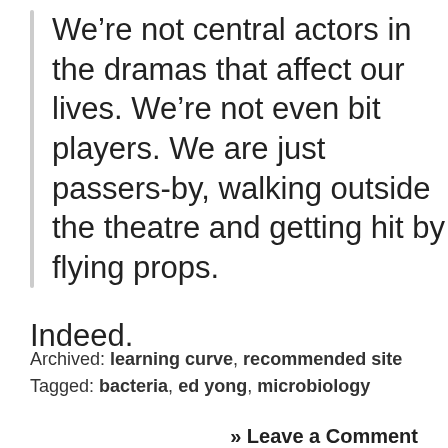We’re not central actors in the dramas that affect our lives. We’re not even bit players. We are just passers-by, walking outside the theatre and getting hit by flying props.
Indeed.
Archived: learning curve, recommended site
Tagged: bacteria, ed yong, microbiology
» Leave a Comment